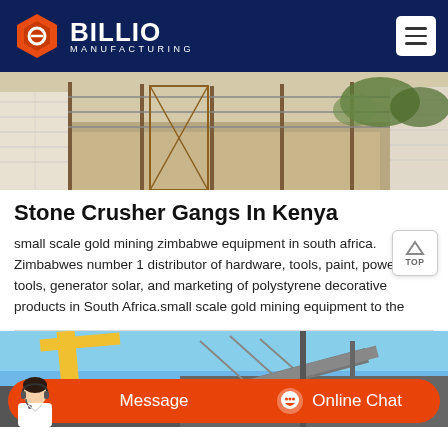BILLIO MANUFACTURING
[Figure (photo): Outdoor scene showing a fenced area with sandy soil, a metal gate, white brick wall, and vegetation in the background.]
Stone Crusher Gangs In Kenya
small scale gold mining zimbabwe equipment in south africa. Zimbabwes number 1 distributor of hardware, tools, paint, power tools, generator solar, and marketing of polystyrene decorative products in South Africa.small scale gold mining equipment to the
[Figure (photo): Outdoor industrial scene showing construction machinery with a yellow crane arm against a blue sky.]